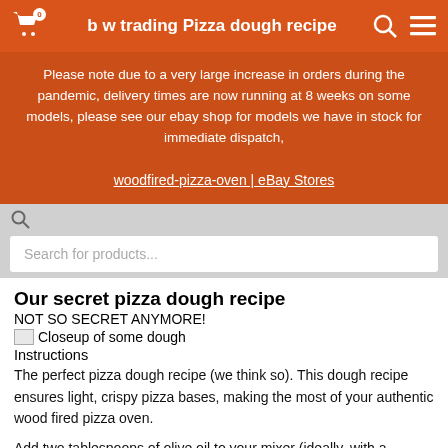b w trading Pizza dough recipe
Please note due to a very large increase in orders during the pandemic, delivery times are now running at 8 weeks on some models, please see our ebay shop for models we have in stock for immediate dispatch,

woodfired-pizza-oven | eBay Stores
Our secret pizza dough recipe
NOT SO SECRET ANYMORE!
[Figure (photo): Broken image placeholder: Closeup of some dough]
Instructions
The perfect pizza dough recipe (we think so). This dough recipe ensures light, crispy pizza bases, making the most of your authentic wood fired pizza oven.
Add two tablespoons of olive oil to your mixer (ideally, with a doughhook). Sieve the flour and salt into the food mixer too. In a jug, add your lukewarm water and mix in your sugar, when the sugar has dissolved sprinkle the yeast over, and leave it to rest for five to ten minutes, the mix should become frothy.